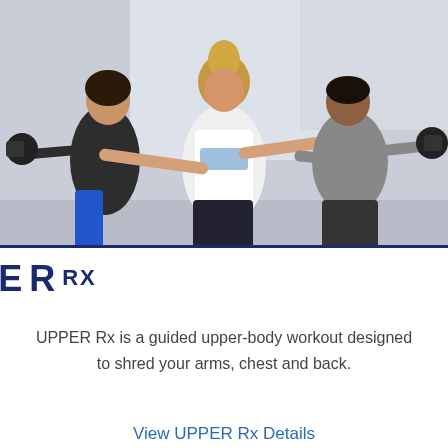[Figure (photo): Three people in a gym doing lateral raises with dumbbells. A blonde woman in a white tank top is in the center foreground, a woman in a black top and blue leggings on the left, and a man in a gray sleeveless shirt and black shorts on the right.]
UPPER RX
UPPER Rx is a guided upper-body workout designed to shred your arms, chest and back.
View UPPER Rx Details